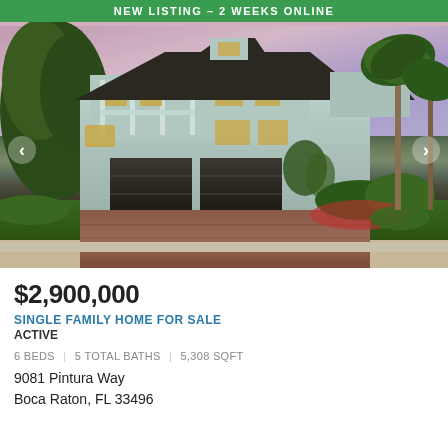NEW LISTING - 2 WEEKS ONLINE
[Figure (photo): Exterior photo of a large two-story luxury single family home with light blue/gray siding, dark brown roof, two-car garage, brick paver driveway, palm trees and tropical landscaping, taken at dusk with colorful sky.]
$2,900,000
SINGLE FAMILY HOME FOR SALE
ACTIVE
6 BEDS | 5 TOTAL BATHS | 5,308 SQFT
9081 Pintura Way
Boca Raton, FL 33496